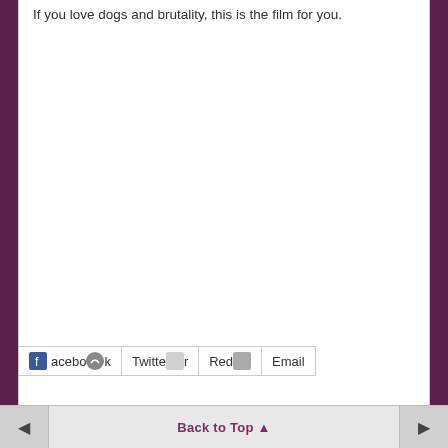If you love dogs and brutality, this is the film for you.
Facebook  Twitter  Reddit  Email
Back to Top ▲